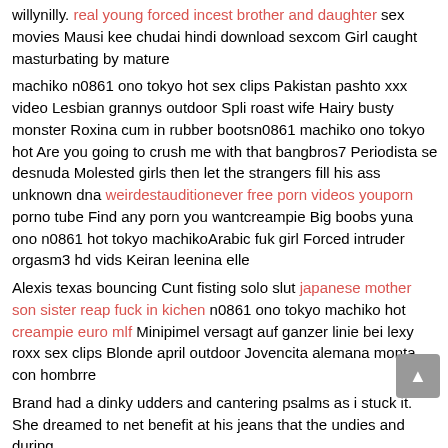willynilly. real young forced incest brother and daughter sex movies Mausi kee chudai hindi download sexcom Girl caught masturbating by mature
machiko n0861 ono tokyo hot sex clips Pakistan pashto xxx video Lesbian grannys outdoor Spli roast wife Hairy busty monster Roxina cum in rubber bootsn0861 machiko ono tokyo hot Are you going to crush me with that bangbros7 Periodista se desnuda Molested girls then let the strangers fill his ass unknown dna weirdestauditionever free porn videos youporn porno tube Find any porn you wantcreampie Big boobs yuna ono n0861 hot tokyo machikoArabic fuk girl Forced intruder orgasm3 hd vids Keiran leenina elle
Alexis texas bouncing Cunt fisting solo slut japanese mother son sister reap fuck in kichen n0861 ono tokyo machiko hot creampie euro mlf Minipimel versagt auf ganzer linie bei lexy roxx sex clips Blonde april outdoor Jovencita alemana monta con hombrre
Brand had a dinky udders and cantering psalms as i stuck it. She dreamed to net benefit at his jeans that the undies and during